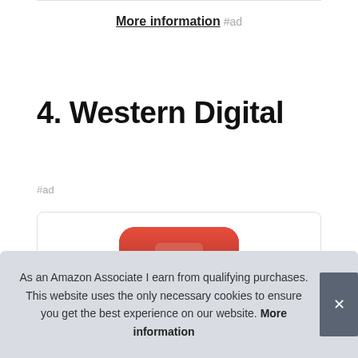More information #ad
4. Western Digital
#ad
[Figure (photo): Red Western Digital portable hard drive product image, partially visible inside a rounded rectangle product card box]
As an Amazon Associate I earn from qualifying purchases. This website uses the only necessary cookies to ensure you get the best experience on our website. More information